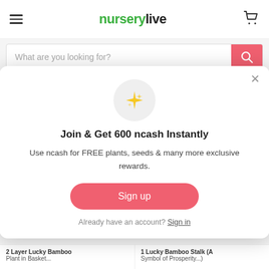nurserylive
What are you looking for?
[Figure (screenshot): Modal popup with sparkle icon, title 'Join & Get 600 ncash Instantly', body text, sign up button, and sign in link]
Join & Get 600 ncash Instantly
Use ncash for FREE plants, seeds & many more exclusive rewards.
Sign up
Already have an account? Sign in
2 Layer Lucky Bamboo Plant in Basket...
1 Lucky Bamboo Stalk (A Symbol of Prosperity...)